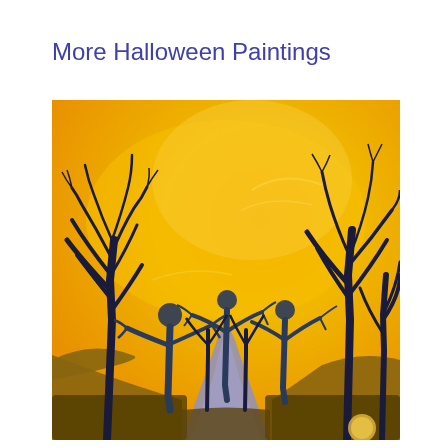More Halloween Paintings
[Figure (illustration): A Halloween-themed painting featuring dark bare trees with spindly branches against a vibrant yellow-orange glowing sky. Several dark humanoid figures with round heads stand among the trees along a purple-lavender path or road that recedes into the distance. The scene evokes a spooky, atmospheric Halloween mood with warm amber and yellow tones dominating the background.]